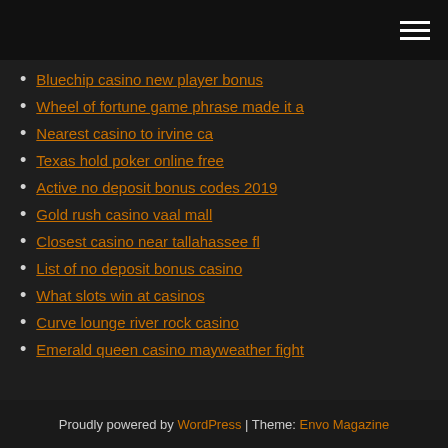[hamburger menu icon]
Bluechip casino new player bonus
Wheel of fortune game phrase made it a
Nearest casino to irvine ca
Texas hold poker online free
Active no deposit bonus codes 2019
Gold rush casino vaal mall
Closest casino near tallahassee fl
List of no deposit bonus casino
What slots win at casinos
Curve lounge river rock casino
Emerald queen casino mayweather fight
Proudly powered by WordPress | Theme: Envo Magazine